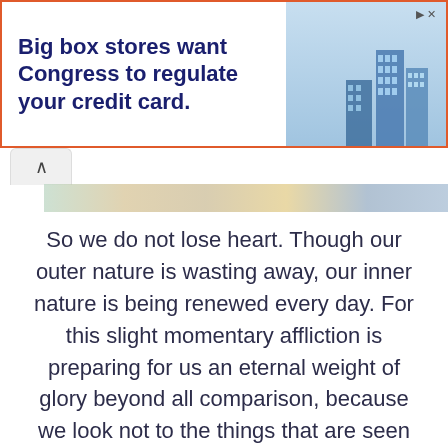[Figure (screenshot): Advertisement banner: 'Big box stores want Congress to regulate your credit card.' with blue building illustration on right, orange border, close button top right.]
So we do not lose heart. Though our outer nature is wasting away, our inner nature is being renewed every day. For this slight momentary affliction is preparing for us an eternal weight of glory beyond all comparison, because we look not to the things that are seen but to the things that are unseen; for the things that are seen are transient, but the things that are unseen are eternal.
— 2 Corinthians 4:16-18